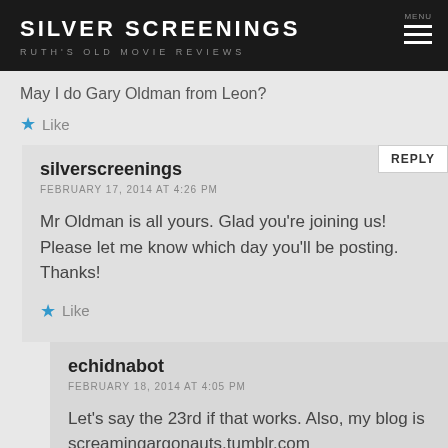SILVER SCREENINGS
RUTH'S OLD MOVIE REVIEWS
May I do Gary Oldman from Leon?
Like
silverscreenings
FEBRUARY 17, 2014 AT 4:26 PM
Mr Oldman is all yours. Glad you're joining us! Please let me know which day you'll be posting. Thanks!
Like
echidnabot
FEBRUARY 18, 2014 AT 4:05 PM
Let's say the 23rd if that works. Also, my blog is screamingargonauts.tumblr.com